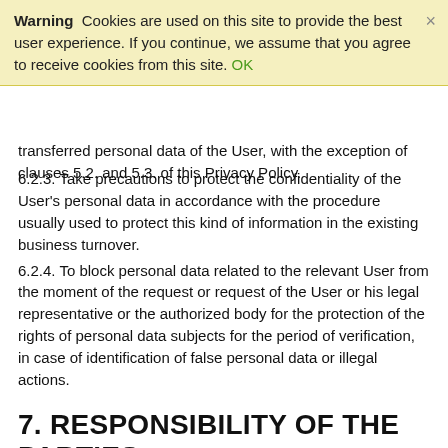Warning Cookies are used on this site to provide the best user experience. If you continue, we assume that you agree to receive cookies from this site. OK
transferred personal data of the User, with the exception of clauses 5.2. and 5.3. of this Privacy Policy.
6.2.3. Take precautions to protect the confidentiality of the User's personal data in accordance with the procedure usually used to protect this kind of information in the existing business turnover.
6.2.4. To block personal data related to the relevant User from the moment of the request or request of the User or his legal representative or the authorized body for the protection of the rights of personal data subjects for the period of verification, in case of identification of false personal data or illegal actions.
7. RESPONSIBILITY OF THE PARTIES
7.1. The Site Administration, which has not fulfilled its obligations, is liable for losses incurred by the User in connection with the misuse of personal data, in accordance with the legislation of the Russian Federation, except for the cases provided for in paragraphs 5.2., 5.3. and 7.2. of this Privacy Policy.
7.2. In case of loss or disclosure of Confidential Information, the Site Administration is not responsible if this confidential information: